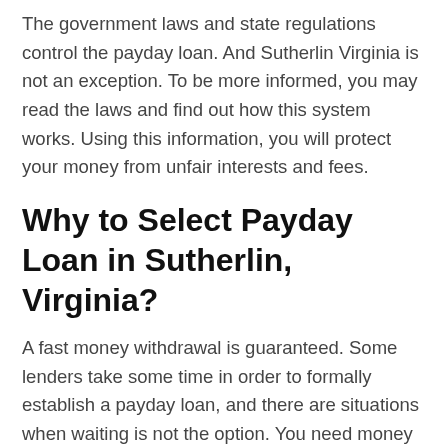The government laws and state regulations control the payday loan. And Sutherlin Virginia is not an exception. To be more informed, you may read the laws and find out how this system works. Using this information, you will protect your money from unfair interests and fees.
Why to Select Payday Loan in Sutherlin, Virginia?
A fast money withdrawal is guaranteed. Some lenders take some time in order to formally establish a payday loan, and there are situations when waiting is not the option. You need money right now? So Sutherlin lenders provide you with rapid application process and a fast approval. Due to this, you will have money